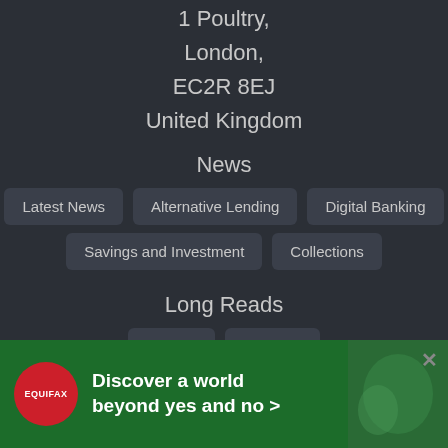London Office
1 Poultry,
London,
EC2R 8EJ
United Kingdom
News
Latest News
Alternative Lending
Digital Banking
Savings and Investment
Collections
Long Reads
Opinion
Features
Events
Money Talks: Raising Venture Capital As A Fintech
AltFi Startup Forum 2022
[Figure (infographic): Equifax advertisement banner: red circular logo with EQUIFAX text, green background, text 'Discover a world beyond yes and no >']